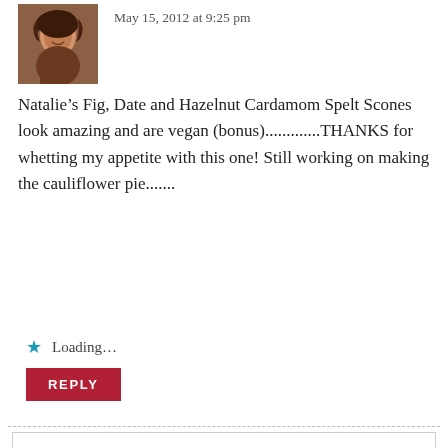May 15, 2012 at 9:25 pm
Natalie’s Fig, Date and Hazelnut Cardamom Spelt Scones look amazing and are vegan (bonus)..................THANKS for whetting my appetite with this one! Still working on making the cauliflower pie.......
Loading...
REPLY
Privacy & Cookies: This site uses cookies. By continuing to use this website, you agree to their use.
To find out more, including how to control cookies, see here: Our Cookie Policy
Close and accept
luck with veganising the cauliflower